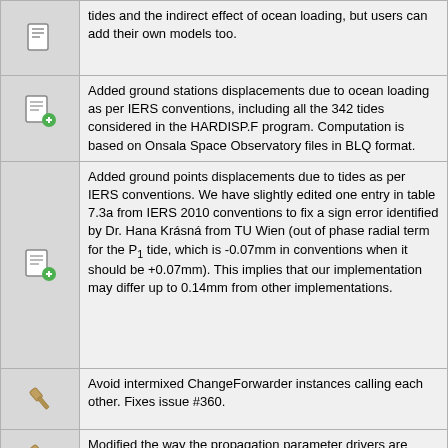| Icon | Description |
| --- | --- |
| [page-icon] | tides and the indirect effect of ocean loading, but users can add their own models too. |
| [add-icon] | Added ground stations displacements due to ocean loading as per IERS conventions, including all the 342 tides considered in the HARDISP.F program. Computation is based on Onsala Space Observatory files in BLQ format. |
| [add-icon] | Added ground points displacements due to tides as per IERS conventions. We have slightly edited one entry in table 7.3a from IERS 2010 conventions to fix a sign error identified by Dr. Hana Krásná from TU Wien (out of phase radial term for the P1 tide, which is -0.07mm in conventions when it should be +0.07mm). This implies that our implementation may differ up to 0.14mm from other implementations. |
| [fix-icon] | Avoid intermixed ChangeForwarder instances calling each other. Fixes issue #360. |
| [fix-icon] | Modified the way the propagation parameter drivers are mapped in the Jacobian matrix in class "Model". Added support for calling it... |